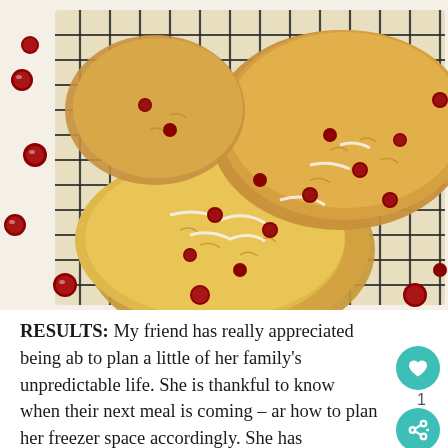[Figure (photo): Overhead photo of cranberry oat scones with white icing glaze on a black wire cooling rack, with scattered fresh red cranberries on parchment paper around the scones.]
RESULTS: My friend has really appreciated being able to plan a little of her family's unpredictable life. She is thankful to know when their next meal is coming – and how to plan her freezer space accordingly. She has